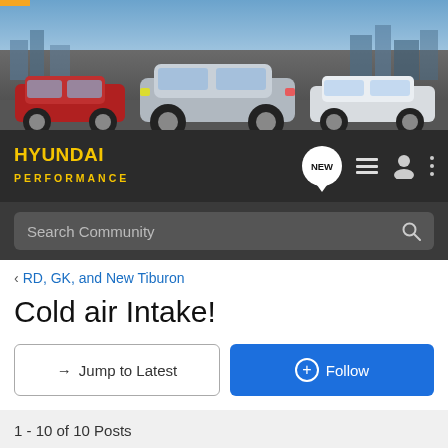[Figure (photo): Hyundai banner showing three cars — red, silver, and white — against a city skyline background]
[Figure (logo): Hyundai Performance forum navigation bar with logo, NEW chat button, list icon, user icon, and menu dots]
Search Community
< RD, GK, and New Tiburon
Cold air Intake!
→ Jump to Latest
+ Follow
1 - 10 of 10 Posts
rollin5star · Registered
Joined Oct 20, 2001 · 11 Posts